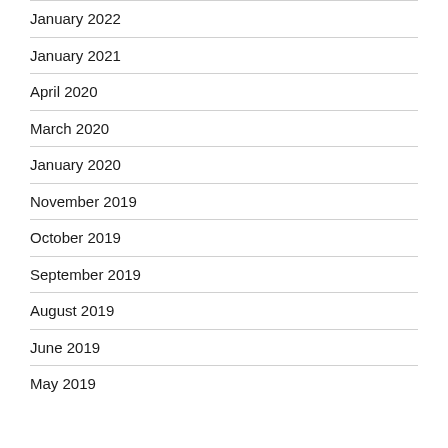January 2022
January 2021
April 2020
March 2020
January 2020
November 2019
October 2019
September 2019
August 2019
June 2019
May 2019